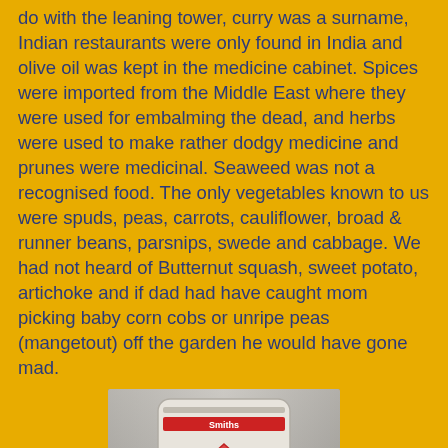do with the leaning tower, curry was a surname, Indian restaurants were only found in India and olive oil was kept in the medicine cabinet. Spices were imported from the Middle East where they were used for embalming the dead, and herbs were used to make rather dodgy medicine and prunes were medicinal. Seaweed was not a recognised food. The only vegetables known to us were spuds, peas, carrots, cauliflower, broad & runner beans, parsnips, swede and cabbage. We had not heard of Butternut squash, sweet potato, artichoke and if dad had have caught mom picking baby corn cobs or unripe peas (mangetout) off the garden he would have gone mad.
[Figure (photo): A bag of Smiths Salt n Shake Crisps with animated salt character figures on the front.]